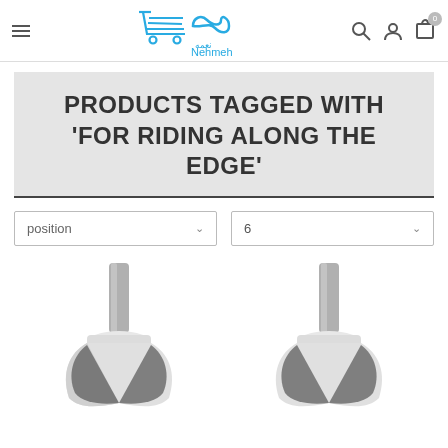Nehmeh - E-commerce navigation header with hamburger menu, logo, search, account, and cart icons
PRODUCTS TAGGED WITH 'FOR RIDING ALONG THE EDGE'
position (dropdown)
6 (dropdown)
[Figure (photo): Two router bit / edge trimmer tools shown from above with cylindrical metal shanks and white/grey cutting bodies]